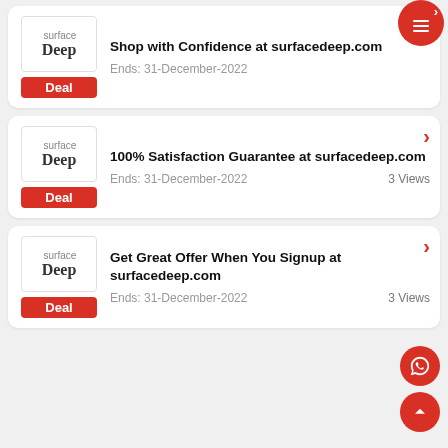[Figure (logo): surfaceDeep logo with Deal badge - card 1]
Shop with Confidence at surfacedeep.com
Ends: 31-December-2022
[Figure (logo): surfaceDeep logo with Deal badge - card 2]
100% Satisfaction Guarantee at surfacedeep.com
Ends: 31-December-2022   3 Views
[Figure (logo): surfaceDeep logo with Deal badge - card 3]
Get Great Offer When You Signup at surfacedeep.com
Ends: 31-December-2022   3 Views